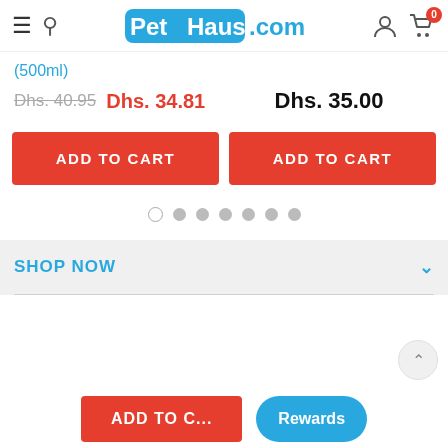PetHaus.com
(500ml)
Dhs. 40.95  Dhs. 34.81    Dhs. 35.00
ADD TO CART
ADD TO CART
SHOP NOW
ADD TO C...
Rewards